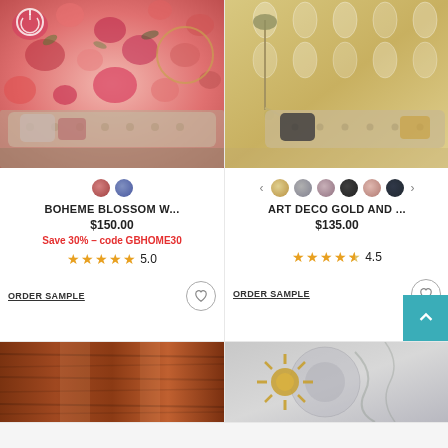[Figure (photo): Boheme Blossom floral wallpaper in a living room with a tufted sofa]
[Figure (photo): Art Deco Gold wallpaper in a living room with a tufted sofa and floor lamp]
BOHEME BLOSSOM W...
$150.00
Save 30% – code GBHOME30
5.0
ORDER SAMPLE
ART DECO GOLD AND ...
$135.00
4.5
ORDER SAMPLE
[Figure (photo): Wood grain wallpaper swatch]
[Figure (photo): Silver/grey floral pattern wallpaper with gold sunburst mirror]